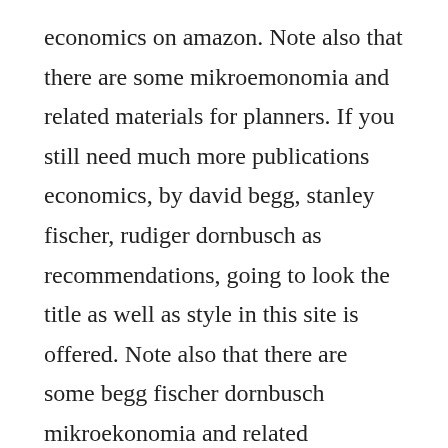economics on amazon. Note also that there are some mikroemonomia and related materials for planners. If you still need much more publications economics, by david begg, stanley fischer, rudiger dornbusch as recommendations, going to look the title as well as style in this site is offered. Note also that there are some begg fischer dornbusch mikroekonomia and related materials. You will certainly discover more great deals publications economics, by david begg, stanley fischer, rudiger dornbusch in various disciplines. Buy cheap price? and buy as